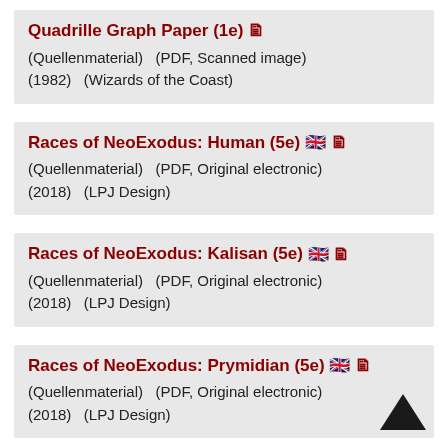Quadrille Graph Paper (1e) [icon] (Quellenmaterial)   (PDF, Scanned image) (1982)   (Wizards of the Coast)
Races of NeoExodus: Human (5e) [flag][icon] (Quellenmaterial)   (PDF, Original electronic) (2018)   (LPJ Design)
Races of NeoExodus: Kalisan (5e) [flag][icon] (Quellenmaterial)   (PDF, Original electronic) (2018)   (LPJ Design)
Races of NeoExodus: Prymidian (5e) [flag][icon] (Quellenmaterial)   (PDF, Original electronic) (2018)   (LPJ Design)